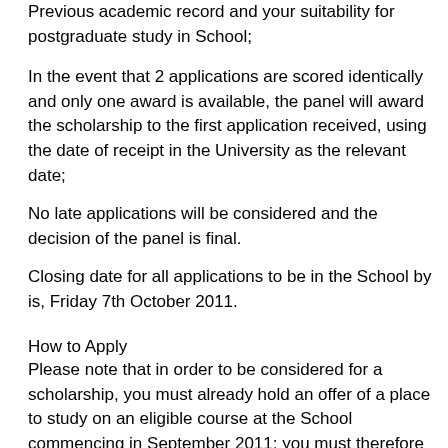Previous academic record and your suitability for postgraduate study in School;
In the event that 2 applications are scored identically and only one award is available, the panel will award the scholarship to the first application received, using the date of receipt in the University as the relevant date;
No late applications will be considered and the decision of the panel is final.
Closing date for all applications to be in the School by is, Friday 7th October 2011.
How to Apply
Please note that in order to be considered for a scholarship, you must already hold an offer of a place to study on an eligible course at the School commencing in September 2011; you must therefore ensure that your application for a place is submitted well in advance.
Please send your completed form to: